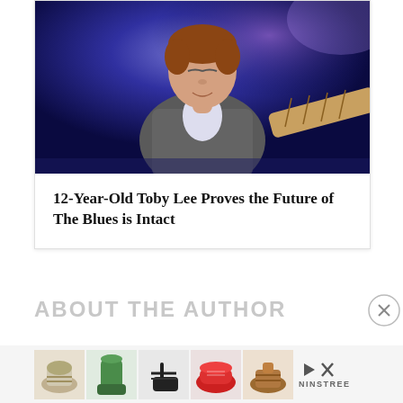[Figure (photo): A young boy (approximately 12 years old) playing guitar on stage with eyes closed, wearing a plaid blazer, illuminated by purple stage lighting. A guitar neck is visible in the lower right.]
12-Year-Old Toby Lee Proves the Future of The Blues is Intact
ABOUT THE AUTHOR
[Figure (photo): Advertisement strip showing five thumbnail images of women's shoes/footwear in various styles and colors (silver sandals, green boots, black sandals, red sneakers, brown sandals), with a Ninstree brand logo and play/close icons.]